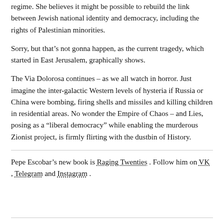regime. She believes it might be possible to rebuild the link between Jewish national identity and democracy, including the rights of Palestinian minorities.
Sorry, but that’s not gonna happen, as the current tragedy, which started in East Jerusalem, graphically shows.
The Via Dolorosa continues – as we all watch in horror. Just imagine the inter-galactic Western levels of hysteria if Russia or China were bombing, firing shells and missiles and killing children in residential areas. No wonder the Empire of Chaos – and Lies, posing as a “liberal democracy” while enabling the murderous Zionist project, is firmly flirting with the dustbin of History.
Pepe Escobar’s new book is Raging Twenties. Follow him on VK, Telegram and Instagram.